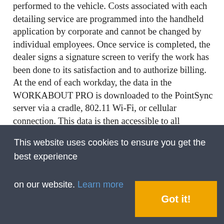performed to the vehicle. Costs associated with each detailing service are programmed into the handheld application by corporate and cannot be changed by individual employees. Once service is completed, the dealer signs a signature screen to verify the work has been done to its satisfaction and to authorize billing. At the end of each workday, the data in the WORKABOUT PRO is downloaded to the PointSync server via a cradle, 802.11 Wi-Fi, or cellular connection. This data is then accessible to all employees via a password-protected Web site. Furthermore, all billing data is automatically converted into a CSV (comma separated value) file that the corporate accounting department downloads into its Great Plains accounting system. This allows the accounting department to automatically generate invoices for
This website uses cookies to ensure you get the best experience on our website. Learn more